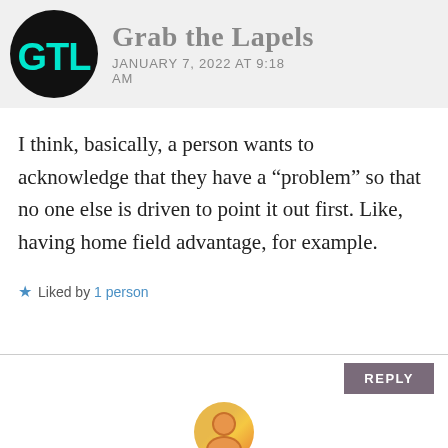Grab the Lapels — JANUARY 7, 2022 AT 9:18 AM
I think, basically, a person wants to acknowledge that they have a “problem” so that no one else is driven to point it out first. Like, having home field advantage, for example.
Liked by 1 person
REPLY